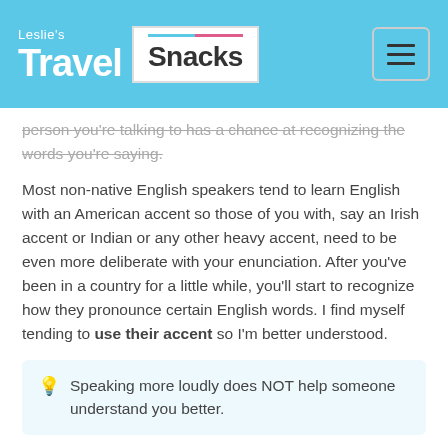Leslie's Travel Snacks
person you're talking to has a chance at recognizing the words you're saying.
Most non-native English speakers tend to learn English with an American accent so those of you with, say an Irish accent or Indian or any other heavy accent, need to be even more deliberate with your enunciation. After you've been in a country for a little while, you'll start to recognize how they pronounce certain English words. I find myself tending to use their accent so I'm better understood.
Speaking more loudly does NOT help someone understand you better.
Limit Your Vocabulary